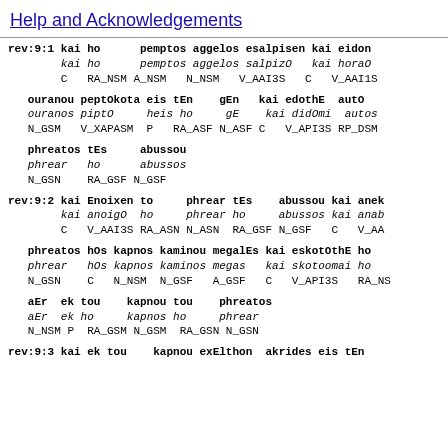Help and Acknowledgements
rev:9:1 kai ho pemptos aggelos esalpisen kai eidon
 kai ho pemptos aggelos salpizO kai horaO
 C RA_NSM A_NSM N_NSM V_AAI3S C V_AAI1S
ouranou peptOkota eis tEn gEn kai edothE autO
 ouranos piptO heis ho gE kai didOmi autos
 N_GSM V_XAPASM P RA_ASF N_ASF C V_API3S RP_DSM
phreatos tEs abussou
 phrear ho abussos
 N_GSN RA_GSF N_GSF
rev:9:2 kai Enoixen to phrear tEs abussou kai anek
 kai anoigO ho phrear ho abussos kai anab
 C V_AAI3S RA_ASN N_ASN RA_GSF N_GSF C V_AA
phreatos hOs kapnos kaminou megalEs kai eskotOthE ho
 phrear hOs kapnos kaminos megas kai skotoomai ho
 N_GSN C N_NSM N_GSF A_GSF C V_API3S RA_NS
aEr ek tou kapnou tou phreatos
 aEr ek ho kapnos ho phrear
 N_NSM P RA_GSM N_GSM RA_GSN N_GSN
rev:9:3 kai ek tou kapnou exElthon akrides eis tEn